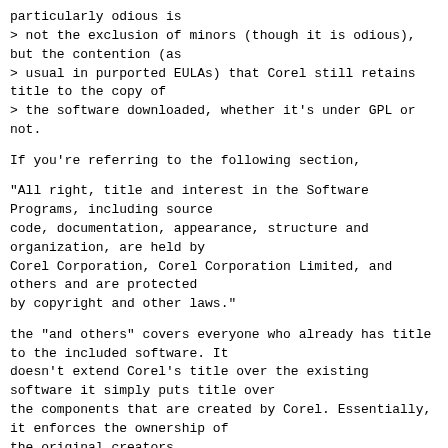particularly odious is
> not the exclusion of minors (though it is odious), but the contention (as
> usual in purported EULAs) that Corel still retains title to the copy of
> the software downloaded, whether it's under GPL or not.
If you're referring to the following section,
"All right, title and interest in the Software Programs, including source
code, documentation, appearance, structure and organization, are held by
Corel Corporation, Corel Corporation Limited, and others and are protected
by copyright and other laws."
the "and others" covers everyone who already has title to the included software. It
doesn't extend Corel's title over the existing software it simply puts title over
the components that are created by Corel. Essentially, it enforces the ownership of
the original creators.
Erich Forler
Product Development Manager
Corel Linux